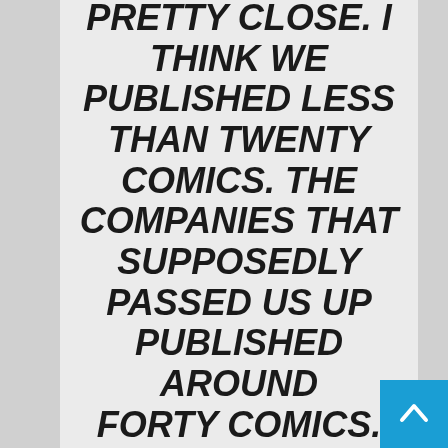MARVEL AND DC ARE PRETTY CLOSE. I THINK WE PUBLISHED LESS THAN TWENTY COMICS. THE COMPANIES THAT SUPPOSEDLY PASSED US UP PUBLISHED AROUND FORTY COMICS. SO IS THAT RELEVANT? SHOULD WE HAVE DOUBLED OUR OFFERINGS SO WE COULD STAY IN